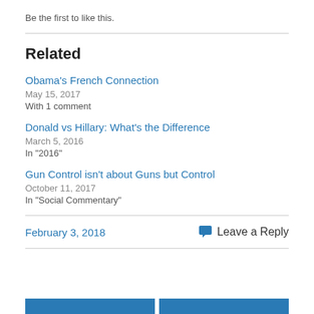Be the first to like this.
Related
Obama's French Connection
May 15, 2017
With 1 comment
Donald vs Hillary: What's the Difference
March 5, 2016
In "2016"
Gun Control isn't about Guns but Control
October 11, 2017
In "Social Commentary"
February 3, 2018
Leave a Reply